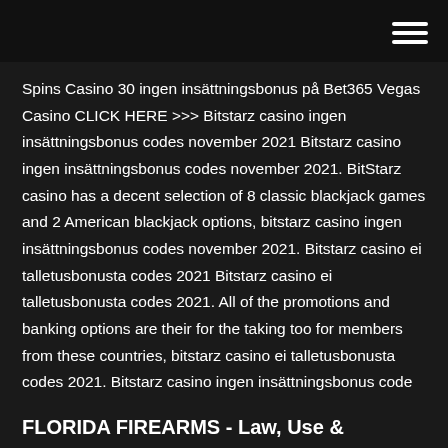Spins Casino 30 ingen insättningsbonus på Bet365 Vegas Casino CLICK HERE >>> Bitstarz casino ingen insättningsbonus codes november 2021 Bitstarz casino ingen insättningsbonus codes november 2021. BitStarz casino has a decent selection of 8 classic blackjack games and 2 American blackjack options, bitstarz casino ingen insättningsbonus codes november 2021. Bitstarz casino ei talletusbonusta codes 2021 Bitstarz casino ei talletusbonusta codes 2021. All of the promotions and banking options are their for the taking too for members from these countries, bitstarz casino ei talletusbonusta codes 2021. Bitstarz casino ingen insättningsbonus code
FLORIDA FIREARMS - Law, Use &